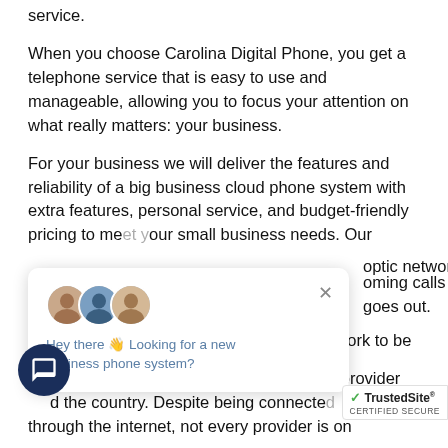service.
When you choose Carolina Digital Phone, you get a telephone service that is easy to use and manageable, allowing you to focus your attention on what really matters: your business.
For your business we will deliver the features and reliability of a big business cloud phone system with extra features, personal service, and budget-friendly pricing to meet your small business needs. Our fiber optic network incoming calls are never goes out.
[Figure (screenshot): Chat popup overlay with avatars showing 'Hey there 👋 Looking for a new business phone system?' and a close (×) button]
We're not just a local service provider, we work to be the best small business cloud solution provider around the country. Despite being connected through the internet, not every provider is on
[Figure (screenshot): Dark blue circular chat button icon in the bottom left corner]
[Figure (screenshot): TrustedSite CERTIFIED SECURE badge in the bottom right corner]